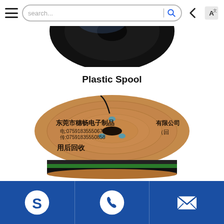[Figure (screenshot): Mobile app navigation bar with hamburger menu, search bar with search icon, back arrow, and translate icon]
[Figure (photo): Top portion of a black plastic spool visible at the top of the content area]
Plastic Spool
[Figure (photo): Wooden cable spool with Chinese text (东莞市穗畅电子制品有限公司, 用后回收) and cable wound around it, with green and black wires visible at the base]
[Figure (screenshot): Blue footer bar with three icons: Skype logo, WhatsApp/phone logo, and email/envelope icon]